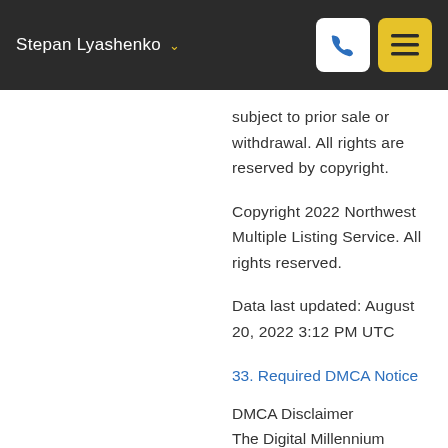Stepan Lyashenko
subject to prior sale or withdrawal. All rights are reserved by copyright.
Copyright 2022 Northwest Multiple Listing Service. All rights reserved.
Data last updated: August 20, 2022 3:12 PM UTC
33. Required DMCA Notice
DMCA Disclaimer
The Digital Millennium Copyright Act of 1998, 17...